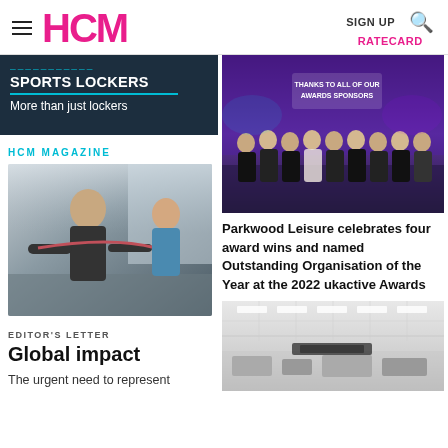HCM | SIGN UP | RATECARD
[Figure (photo): Sports Lockers advertisement banner with dark navy background, teal text and white text reading 'SPORTS LOCKERS - More than just lockers']
HCM MAGAZINE
[Figure (photo): Older man and woman exercising with resistance bands in a gym setting]
[Figure (photo): Group of award winners on stage at the 2022 ukactive Awards with sign reading 'THANKS TO ALL OF OUR AWARDS SPONSORS']
Parkwood Leisure celebrates four award wins and named Outstanding Organisation of the Year at the 2022 ukactive Awards
EDITOR'S LETTER
Global impact
The urgent need to represent
[Figure (photo): Interior photo of a gymnasium or sports hall with white ceiling tiles and equipment visible]